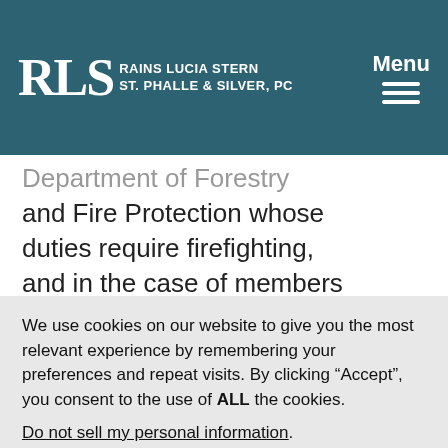RLS Rains Lucia Stern St. Phalle & Silver, PC | Menu
Department of Forestry and Fire Protection whose duties require firefighting, and in the case of members of the warden service of the Wildlife Protection Branch of the Department of Fish and Game
We use cookies on our website to give you the most relevant experience by remembering your preferences and repeat visits. By clicking “Accept”, you consent to the use of ALL the cookies.
Do not sell my personal information.
Cookie settings | ACCEPT | REJECT